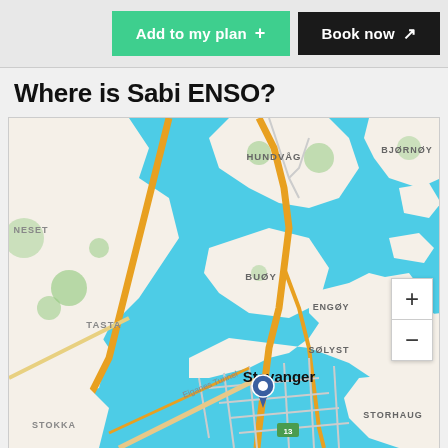Add to my plan +
Book now ↗
Where is Sabi ENSO?
[Figure (map): OpenStreetMap-style map centered on Stavanger, Norway, showing the fjord area with labeled districts: HUNDVÅG, BJØRNØY, NESET, BUØY, ENGØY, SØLYST, TASTA, STORHAUG, STOKKA, and the city center Stavanger with a location pin marker. Road 13 labeled. Eiganes Tunnel road. Zoom in/out controls visible on right side.]